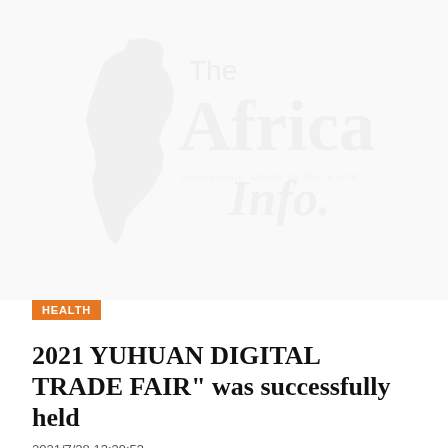[Figure (logo): The Africa Info watermark logo — large faded grey text and Africa continent silhouette watermark in the background]
HEALTH
2021 YUHUAN DIGITAL TRADE FAIR" was successfully held
2021/7/28 13:39:53
In order to help enterprises overcome the offline communication barriers